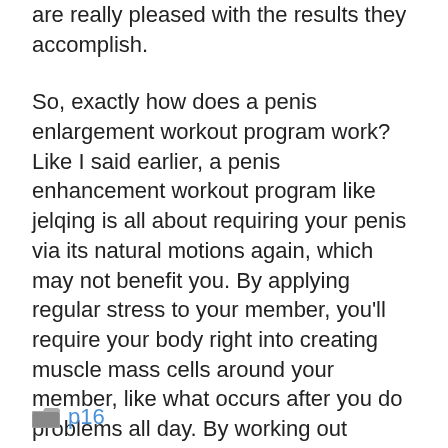are really pleased with the results they accomplish.
So, exactly how does a penis enlargement workout program work? Like I said earlier, a penis enhancement workout program like jelqing is all about requiring your penis via its natural motions again, which may not benefit you. By applying regular stress to your member, you’ll require your body right into creating muscle mass cells around your member, like what occurs after you do problems all day. By working out routinely as well as complying with the correct program, you can begin to see gains within a couple of short weeks.
p16